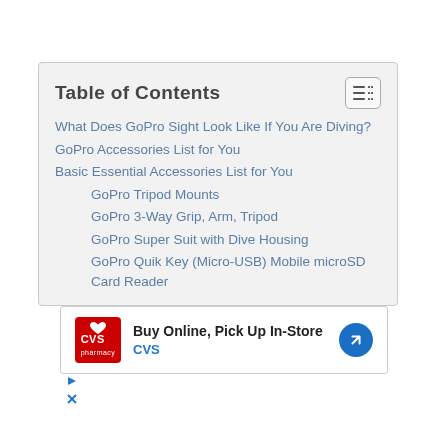Table of Contents
What Does GoPro Sight Look Like If You Are Diving?
GoPro Accessories List for You
Basic Essential Accessories List for You
GoPro Tripod Mounts
GoPro 3-Way Grip, Arm, Tripod
GoPro Super Suit with Dive Housing
GoPro Quik Key (Micro-USB) Mobile microSD Card Reader
[Figure (other): CVS Pharmacy advertisement: Buy Online, Pick Up In-Store]